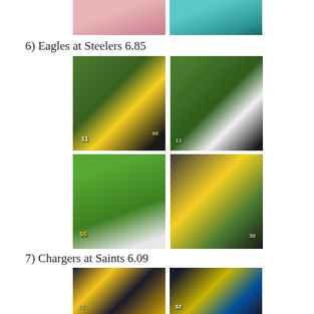[Figure (photo): Two partial cropped NFL football game photos at top of page — left shows cheerleader/fan partial, right shows a player in teal uniform.]
6) Eagles at Steelers 6.85
[Figure (photo): Four NFL game photos in 2x2 grid showing Eagles vs Steelers game action: top-left shows #11 Wentz and #90 Steeler pass rusher; top-right shows Eagles QB at line of scrimmage; bottom-left shows #55 Steeler and others in open field; bottom-right shows Steeler in black/gold tackling Eagles receiver.]
7) Chargers at Saints 6.09
[Figure (photo): Two partial NFL game photos at bottom showing Chargers vs Saints game action: left photo shows QB scrambling with Saints defenders; right photo shows #32 Saints player and Chargers players.]